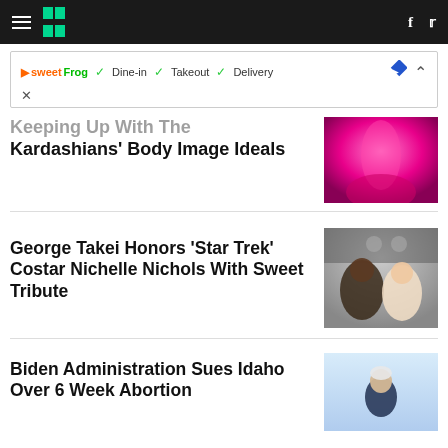HuffPost navigation bar with hamburger menu, logo, Facebook and Twitter icons
[Figure (screenshot): SweetFrog advertisement banner: Dine-in, Takeout, Delivery options with diamond navigation icon]
Keeping Up With The Kardashians' Body Image Ideals
[Figure (photo): Pink sparkly dress photo related to Kardashians article]
George Takei Honors 'Star Trek' Costar Nichelle Nichols With Sweet Tribute
[Figure (photo): Photo of Nichelle Nichols and George Takei at Asian Food event]
Biden Administration Sues Idaho Over 6 Week Abortion
[Figure (photo): Photo of President Biden]